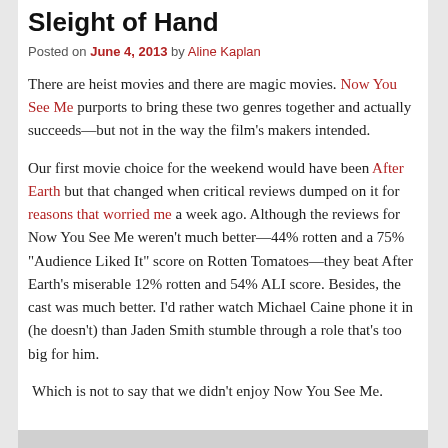Sleight of Hand
Posted on June 4, 2013 by Aline Kaplan
There are heist movies and there are magic movies. Now You See Me purports to bring these two genres together and actually succeeds—but not in the way the film's makers intended.
Our first movie choice for the weekend would have been After Earth but that changed when critical reviews dumped on it for reasons that worried me a week ago. Although the reviews for Now You See Me weren't much better—44% rotten and a 75% "Audience Liked It" score on Rotten Tomatoes—they beat After Earth's miserable 12% rotten and 54% ALI score. Besides, the cast was much better. I'd rather watch Michael Caine phone it in (he doesn't) than Jaden Smith stumble through a role that's too big for him.
Which is not to say that we didn't enjoy Now You See Me.